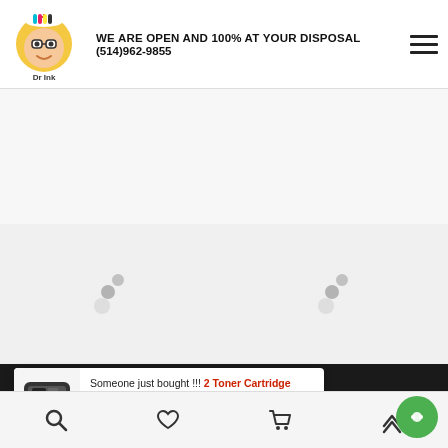[Figure (logo): Dr Ink logo: cartoon doctor mascot with ink cartridge colors holding a cartridge, text 'Dr Ink' below]
WE ARE OPEN AND 100% AT YOUR DISPOSAL (514)962-9855
[Figure (illustration): Hamburger menu icon (three horizontal lines)]
[Figure (illustration): Two loading spinner animations on a light gray background]
CONTACT US
Someone just bought !!! 2 Toner Cartridge Compatible Samsung MLT-D115L (D115L) Black
[Figure (illustration): Bottom navigation bar icons: search, heart/wishlist, shopping cart, scroll-up arrow, and green chat bubble]